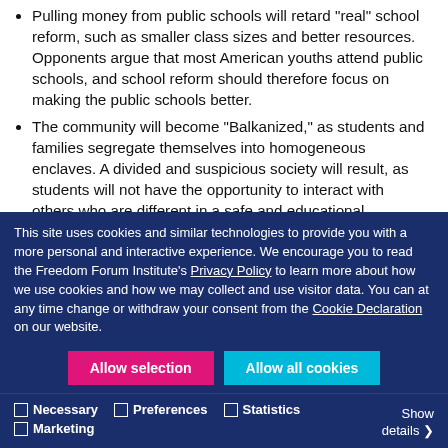Pulling money from public schools will retard “real” school reform, such as smaller class sizes and better resources. Opponents argue that most American youths attend public schools, and school reform should therefore focus on making the public schools better.
The community will become “Balkanized,” as students and families segregate themselves into homogeneous enclaves. A divided and suspicious society will result, as students will not have the opportunity to interact with others who are different in a safe and educational environment.
Providing funding to religious schools violates the principles of the First Amendment’s establishment clause as set out in historical documents of the Founding Fathers and Supreme Court
This site uses cookies and similar technologies to provide you with a more personal and interactive experience. We encourage you to read the Freedom Forum Institute’s Privacy Policy to learn more about how we use cookies and how we may collect and use visitor data. You can at any time change or withdraw your consent from the Cookie Declaration on our website.